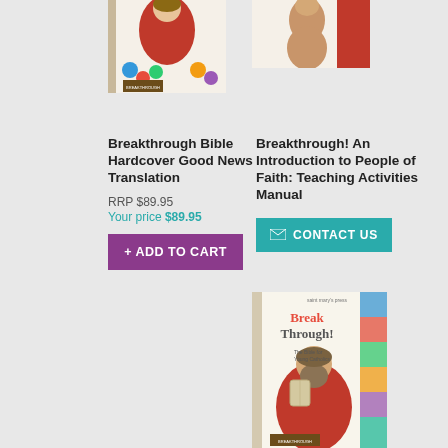[Figure (illustration): Cropped top portion of Breakthrough Bible Hardcover Good News Translation book cover showing illustrated biblical figure in red robe]
[Figure (illustration): Cropped top portion of Breakthrough! An Introduction to People of Faith Teaching Activities Manual book cover showing illustrated figure]
Breakthrough Bible Hardcover Good News Translation
RRP $89.95
Your price $89.95
+ ADD TO CART
Breakthrough! An Introduction to People of Faith: Teaching Activities Manual
CONTACT US
[Figure (illustration): Breakthrough! The Bible for Young Catholics book cover with illustrated Moses-like figure holding tablets, with colorful illustrated characters on the side]